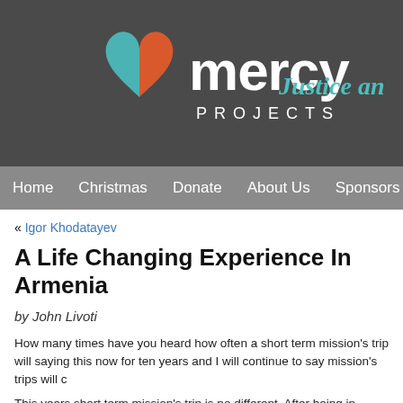[Figure (logo): Mercy Projects logo with heart icon in orange and teal, white text 'mercy PROJECTS', and teal italic text 'Justice an...' on dark gray background]
Home  Christmas  Donate  About Us  Sponsors
« Igor Khodatayev
A Life Changing Experience In Armenia
by John Livoti
How many times have you heard how often a short term mission's trip will saying this now for ten years and I will continue to say mission's trips will c
This years short term mission's trip is no different. After being in Russia an change to Armenia has opened my eyes into a country that did not give up fact that the Soviet Union's domination of Armenia failed to eliminate their
After arriving early in the morning (3:00 am) and after spending the night a Yeravan I woke up looking at Mt. Ararat. The biblical story of Noah's Ark ca close Mt. Ararat. With an elevation of over 16,000 feet and snow on top ye flood water to be this high. In Genesis 7:19-20 it says